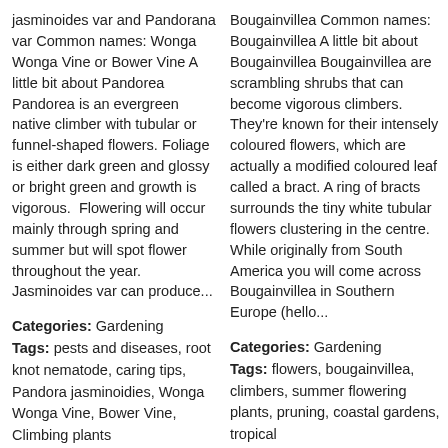jasminoides var and Pandorana var Common names: Wonga Wonga Vine or Bower Vine A little bit about Pandorea Pandorea is an evergreen native climber with tubular or funnel-shaped flowers. Foliage is either dark green and glossy or bright green and growth is vigorous.  Flowering will occur mainly through spring and summer but will spot flower throughout the year. Jasminoides var can produce...
Categories: Gardening Tags: pests and diseases, root knot nematode, caring tips, Pandora jasminoidies, Wonga Wonga Vine, Bower Vine, Climbing plants
Bougainvillea Common names: Bougainvillea A little bit about Bougainvillea Bougainvillea are scrambling shrubs that can become vigorous climbers. They're known for their intensely coloured flowers, which are actually a modified coloured leaf called a bract. A ring of bracts surrounds the tiny white tubular flowers clustering in the centre. While originally from South America you will come across Bougainvillea in Southern Europe (hello...
Categories: Gardening Tags: flowers, bougainvillea, climbers, summer flowering plants, pruning, coastal gardens, tropical